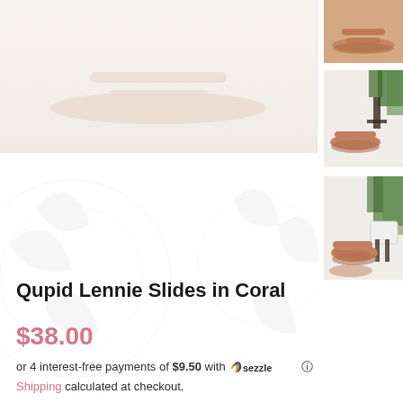[Figure (photo): Main product image area showing coral/tan sandal slides on white/cream background]
[Figure (photo): Thumbnail 1: coral slide sandals viewed from above/angle]
[Figure (photo): Thumbnail 2: coral slide sandals with green plants in background, top-down view]
[Figure (photo): Thumbnail 3: coral slide sandals with green plants in background, side view]
Qupid Lennie Slides in Coral
$38.00
or 4 interest-free payments of $9.50 with Sezzle ℹ
Shipping calculated at checkout.